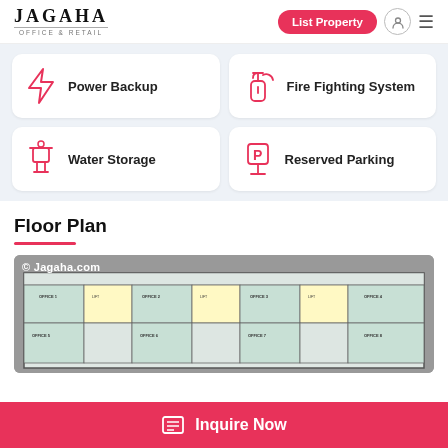JAGAHA OFFICE & RETAIL — List Property
Power Backup
Fire Fighting System
Water Storage
Reserved Parking
Floor Plan
[Figure (engineering-diagram): Floor plan architectural drawing showing multiple office units labeled OFFICE 1 through OFFICE 12 arranged in a rectangular layout with corridors and lift areas. Watermark: © Jagaha.com]
Inquire Now